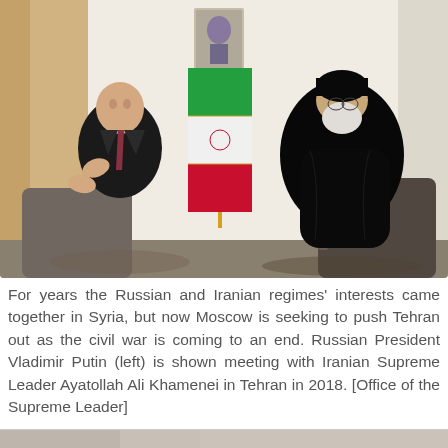[Figure (photo): Russian President Vladimir Putin (left) seated and gesturing with hands, meeting with Iranian Supreme Leader Ayatollah Ali Khamenei (right, wearing black turban and robe), with an Iranian flag in the background and a portrait on the wall. Tehran, 2018. Photo credit: Office of the Supreme Leader.]
For years the Russian and Iranian regimes' interests came together in Syria, but now Moscow is seeking to push Tehran out as the civil war is coming to an end. Russian President Vladimir Putin (left) is shown meeting with Iranian Supreme Leader Ayatollah Ali Khamenei in Tehran in 2018. [Office of the Supreme Leader]